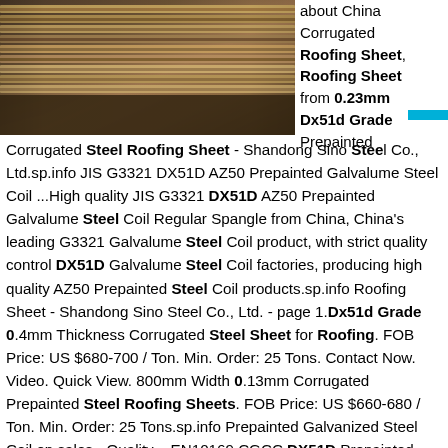[Figure (photo): Stack of steel/metal sheets photographed from the side, showing layered corrugated steel roofing material in brown/rust tones]
about China Corrugated Roofing Sheet, Roofing Sheet from 0.23mm Dx51d Grade Prepainted Corrugated Steel Roofing Sheet - Shandong Sino Steel Co., Ltd.sp.info JIS G3321 DX51D AZ50 Prepainted Galvalume Steel Coil ...High quality JIS G3321 DX51D AZ50 Prepainted Galvalume Steel Coil Regular Spangle from China, China's leading G3321 Galvalume Steel Coil product, with strict quality control DX51D Galvalume Steel Coil factories, producing high quality AZ50 Prepainted Steel Coil products.sp.info Roofing Sheet - Shandong Sino Steel Co., Ltd. - page 1.Dx51d Grade 0.4mm Thickness Corrugated Steel Sheet for Roofing. FOB Price: US $680-700 / Ton. Min. Order: 25 Tons. Contact Now. Video. Quick View. 800mm Width 0.13mm Corrugated Prepainted Steel Roofing Sheets. FOB Price: US $660-680 / Ton. Min. Order: 25 Tons.sp.info Prepainted Galvanized Steel Coil on sales - Quality ...EN10169 CGCC DX51D Prepainted